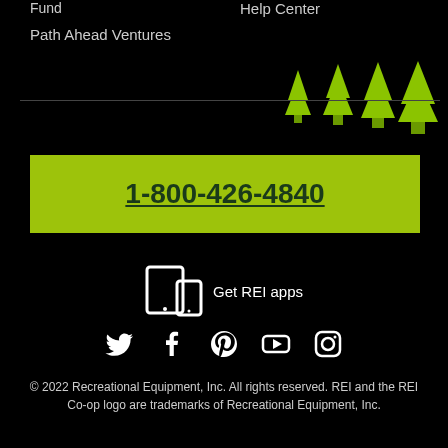Fund
Help Center
Path Ahead Ventures
[Figure (illustration): Decorative pine tree silhouettes in lime green arranged in a forest scene]
1-800-426-4840
[Figure (illustration): Tablet and phone device icons for Get REI apps]
Get REI apps
[Figure (illustration): Social media icons: Twitter, Facebook, Pinterest, YouTube, Instagram]
© 2022 Recreational Equipment, Inc. All rights reserved. REI and the REI Co-op logo are trademarks of Recreational Equipment, Inc.